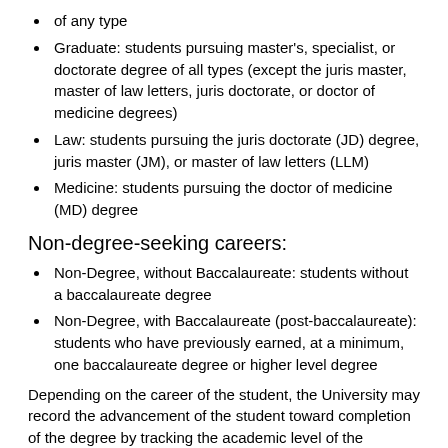of any type
Graduate: students pursuing master's, specialist, or doctorate degree of all types (except the juris master, master of law letters, juris doctorate, or doctor of medicine degrees)
Law: students pursuing the juris doctorate (JD) degree, juris master (JM), or master of law letters (LLM)
Medicine: students pursuing the doctor of medicine (MD) degree
Non-degree-seeking careers:
Non-Degree, without Baccalaureate: students without a baccalaureate degree
Non-Degree, with Baccalaureate (post-baccalaureate): students who have previously earned, at a minimum, one baccalaureate degree or higher level degree
Depending on the career of the student, the University may record the advancement of the student toward completion of the degree by tracking the academic level of the student. The academic level of undergraduate students is calculated on the basis of semester hours. Students with a career of Law or